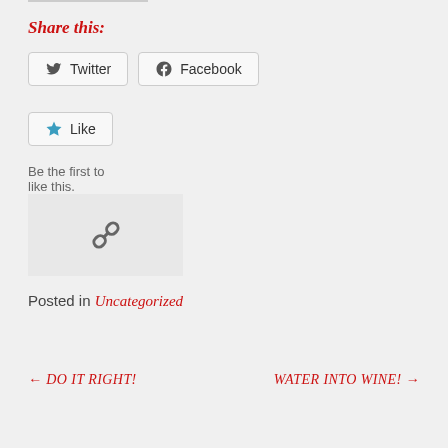Share this:
[Figure (other): Twitter and Facebook share buttons]
[Figure (other): Like button with star icon and text 'Be the first to like this.']
[Figure (other): Link/chain icon in a light gray box]
Posted in Uncategorized
← DO IT RIGHT!
WATER INTO WINE! →